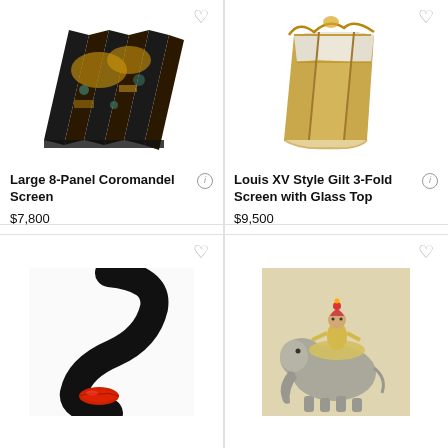[Figure (photo): Large 8-Panel Coromandel Screen - decorative folding screen with black lacquer and gold Asian scenes]
Large 8-Panel Coromandel Screen
$7,800
[Figure (photo): Louis XV Style Gilt 3-Fold Screen with Glass Top - ornate gold-tone folding screen with glass panel on top]
Louis XV Style Gilt 3-Fold Screen with Glass Top
$9,500
[Figure (photo): Abstract artwork showing a black sweeping curve with red lips on white background]
[Figure (photo): Vintage illustration of a figure in colorful costume riding an elephant]